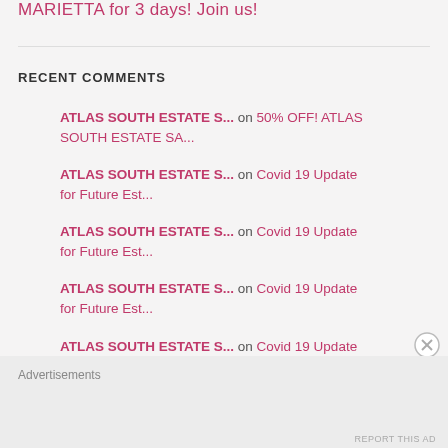MARIETTA for 3 days! Join us!
RECENT COMMENTS
ATLAS SOUTH ESTATE S... on 50% OFF! ATLAS SOUTH ESTATE SA...
ATLAS SOUTH ESTATE S... on Covid 19 Update for Future Est...
ATLAS SOUTH ESTATE S... on Covid 19 Update for Future Est...
ATLAS SOUTH ESTATE S... on Covid 19 Update for Future Est...
ATLAS SOUTH ESTATE S... on Covid 19 Update for Future Est...
Advertisements
REPORT THIS AD